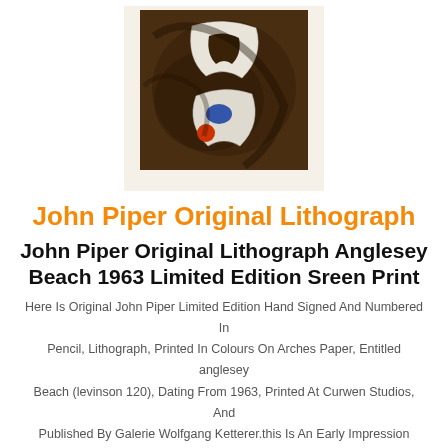[Figure (illustration): Abstract lithograph artwork showing a dark brown background with two white curved/fan shapes and a small blue shape and a red/orange circle, mounted on a cream/white paper border.]
John Piper Original Lithograph
John Piper Original Lithograph Anglesey Beach 1963 Limited Edition Sreen Print
Here Is Original John Piper Limited Edition Hand Signed And Numbered In Pencil, Lithograph, Printed In Colours On Arches Paper, Entitled anglesey Beach (levinson 120), Dating From 1963, Printed At Curwen Studios, And Published By Galerie Wolfgang Ketterer.this Is An Early Impression Being Number 465.